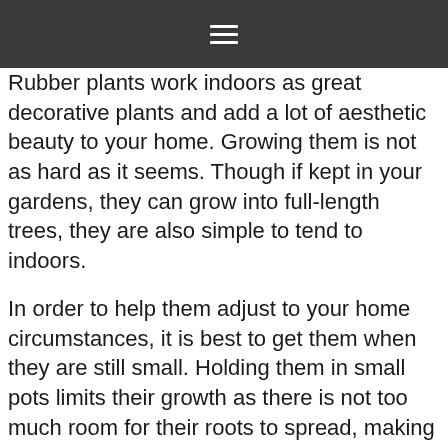≡
Rubber plants work indoors as great decorative plants and add a lot of aesthetic beauty to your home. Growing them is not as hard as it seems. Though if kept in your gardens, they can grow into full-length trees, they are also simple to tend to indoors.
In order to help them adjust to your home circumstances, it is best to get them when they are still small. Holding them in small pots limits their growth as there is not too much room for their roots to spread, making them ideal houseplants.
Amazon